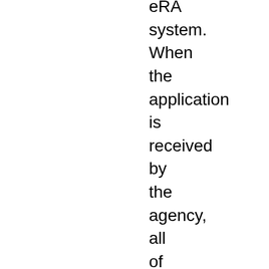eRA system. When the application is received by the agency, all of the Research Plan sections will be concatenated in the appropriate order so that reviewers and agency